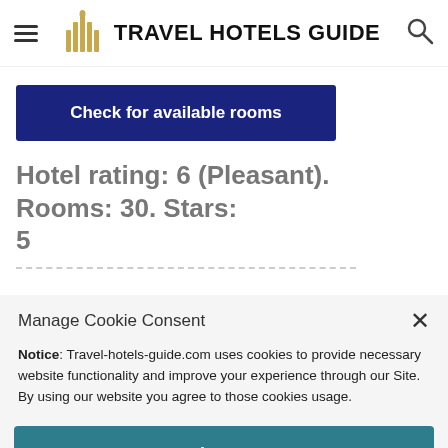TRAVEL HOTELS GUIDE
Check for available rooms
Hotel rating: 6 (Pleasant). Rooms: 30. Stars: 5
Manage Cookie Consent
Notice: Travel-hotels-guide.com uses cookies to provide necessary website functionality and improve your experience through our Site. By using our website you agree to those cookies usage.
Accept